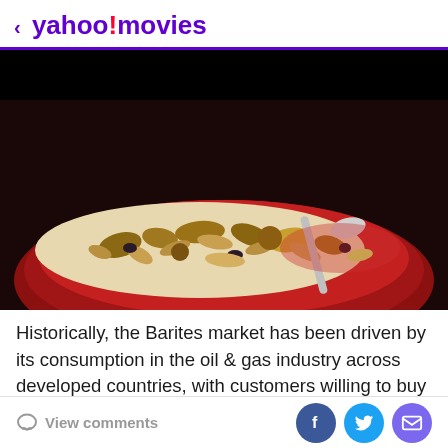< yahoo!movies
[Figure (photo): Close-up photo of granola or muesli with nuts and dried fruit in a red bowl with a spoon, on a dark background.]
Historically, the Barites market has been driven by its consumption in the oil & gas industry across developed countries, with customers willing to buy barite not only industrial purposes but also for medical, plastics, rubber, etc. Barite sales accounted for approximately 0.5% share of the global mineral market in 2021, and due to its
View comments